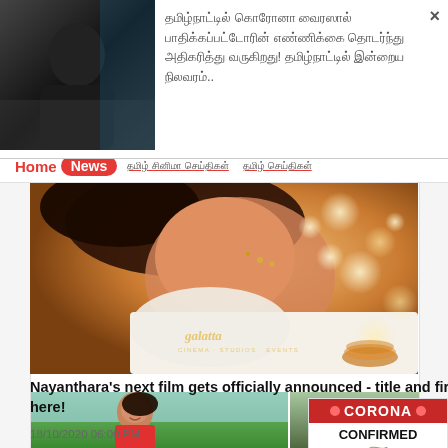[Figure (photo): Popup overlay: small dark image on left, Tamil text on right with close button]
தமிழ்நாட்டில் கொரோனா வைரஸால் பாதிக்கப்பட்டோரின் எண்ணிக்கை தொடர்ந்து அதிகரித்து வருகிறது! தமிழ்நாட்டில் இன்றைய நிலவரம்..
Home  News
[Figure (photo): Close-up photo of woman with jewelry in traditional Indian dress, bokeh lights in background, galatta watermark]
Nayanthara's next film gets officially announced - title and first look poster here!
18/10/2020 06:00 PM
[Figure (infographic): Corona confirmed widget with red header, Indian flag, count 4,44,08,132, globe icon]
[Figure (photo): Two photos: woman smiling outdoors on left, man on right]